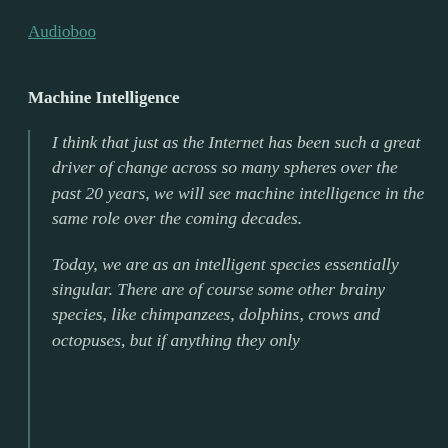Audioboo
Machine Intelligence
I think that just as the Internet has been such a great driver of change across so many spheres over the past 20 years, we will see machine intelligence in the same role over the coming decades.
Today, we are as an intelligent species essentially singular. There are of course some other brainy species, like chimpanzees, dolphins, crows and octopuses, but if anything they only